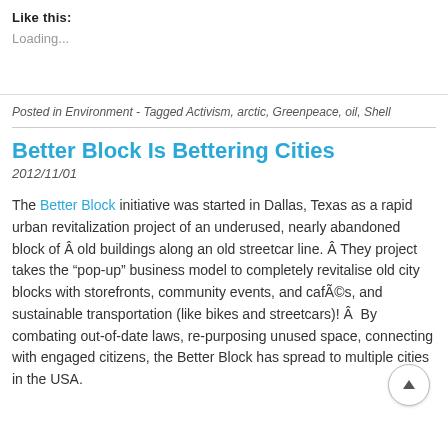Like this:
Loading...
Posted in Environment - Tagged Activism, arctic, Greenpeace, oil, Shell
Better Block Is Bettering Cities
2012/11/01
The Better Block initiative was started in Dallas, Texas as a rapid urban revitalization project of an underused, nearly abandoned block of Â old buildings along an old streetcar line. Â They project takes the “pop-up” business model to completely revitalise old city blocks with storefronts, community events, and cafÃ©s, and sustainable transportation (like bikes and streetcars)! Â  By combating out-of-date laws, re-purposing unused space, connecting with engaged citizens, the Better Block has spread to multiple cities in the USA.